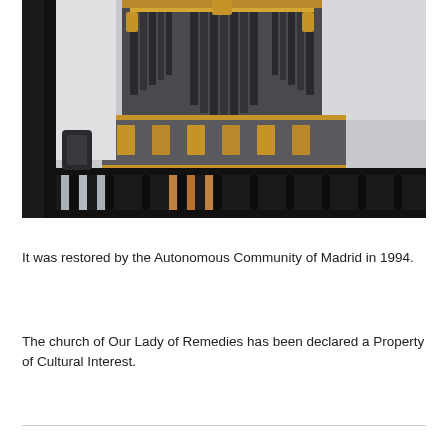[Figure (photo): Photograph of an ornate pipe organ with gold decorative elements and a dark wooden balcony railing in the foreground, viewed from below inside a church.]
It was restored by the Autonomous Community of Madrid in 1994.
The church of Our Lady of Remedies has been declared a Property of Cultural Interest.